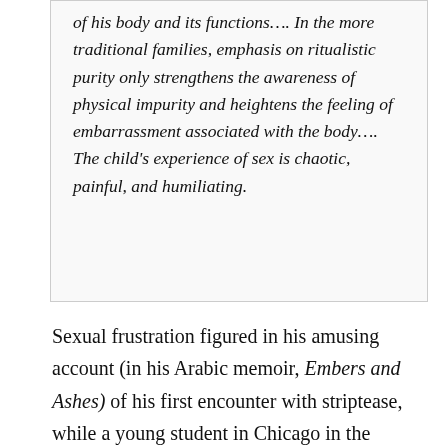of his body and its functions…. In the more traditional families, emphasis on ritualistic purity only strengthens the awareness of physical impurity and heightens the feeling of embarrassment associated with the body…. The child's experience of sex is chaotic, painful, and humiliating.
Sexual frustration figured in his amusing account (in his Arabic memoir, Embers and Ashes) of his first encounter with striptease, while a young student in Chicago in the 1940s. (It's translated here.) But there was something sadly poignant, and even ominous, about